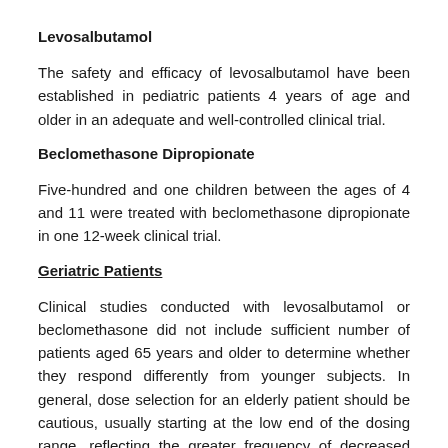Levosalbutamol
The safety and efficacy of levosalbutamol have been established in pediatric patients 4 years of age and older in an adequate and well-controlled clinical trial.
Beclomethasone Dipropionate
Five-hundred and one children between the ages of 4 and 11 were treated with beclomethasone dipropionate in one 12-week clinical trial.
Geriatric Patients
Clinical studies conducted with levosalbutamol or beclomethasone did not include sufficient number of patients aged 65 years and older to determine whether they respond differently from younger subjects. In general, dose selection for an elderly patient should be cautious, usually starting at the low end of the dosing range, reflecting the greater frequency of decreased hepatic, renal, or cardiac function, and of concomitant diseases or other drug